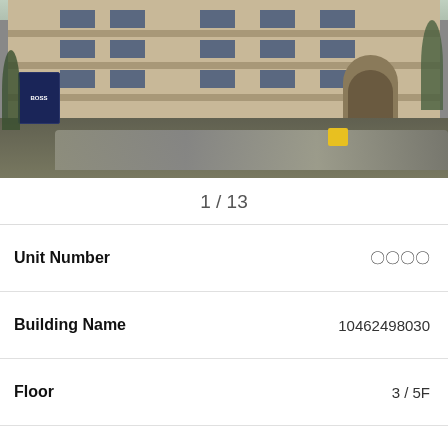[Figure (photo): Exterior photo of a multi-story apartment building in Japan with beige/tan brick facade, balconies, large arched entrance on the right, trees, and motorcycles/bicycles parked in front. A BOSS vending machine sign is visible on the left.]
1 / 13
| Field | Value |
| --- | --- |
| Unit Number | 〇〇〇〇 |
| Building Name | 10462498030 |
| Floor | 3 / 5F |
| Available From | Aug 3 |
| Type | M |